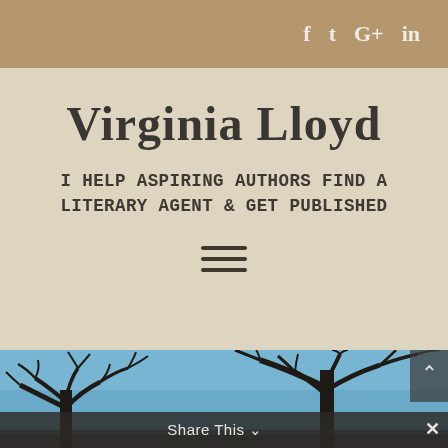f  t  G+  in
Virginia Lloyd
I HELP ASPIRING AUTHORS FIND A LITERARY AGENT & GET PUBLISHED
[Figure (other): Hamburger menu icon — three horizontal lines]
[Figure (photo): Winter landscape photo showing bare tree branches against a bright blue sky]
Share This